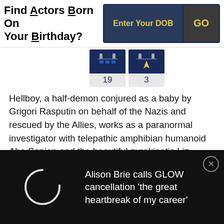Find Actors Born On Your Birthday?
Hellboy, a half-demon conjured as a baby by Grigori Rasputin on behalf of the Nazis and rescued by the Allies, works as a paranormal investigator with telepathic amphibian humanoid Abe Sapien and the beautiful pyrokinetic Liz Sherman. After the Mad Monk Rasputin returns 60 years later, Hellboy and his team become the unlikely savior of mankind.
As: Cast, Director, Writer, uncredited
Alison Brie calls GLOW cancellation 'the great heartbreak of my career'